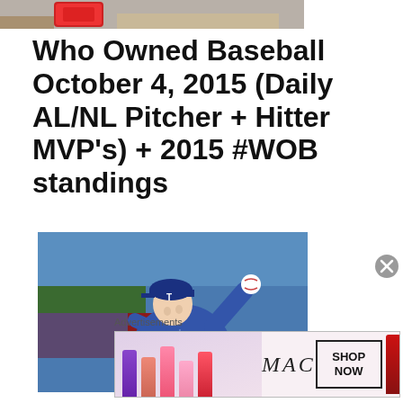[Figure (photo): Top portion of an image showing shoes/sneakers, partially cropped]
Who Owned Baseball October 4, 2015 (Daily AL/NL Pitcher + Hitter MVP's) + 2015 #WOB standings
[Figure (photo): A baseball pitcher in a blue Texas Rangers uniform mid-wind-up, about to throw a baseball]
Advertisements
[Figure (photo): MAC Cosmetics advertisement banner showing colorful lipsticks with SHOP NOW call to action]